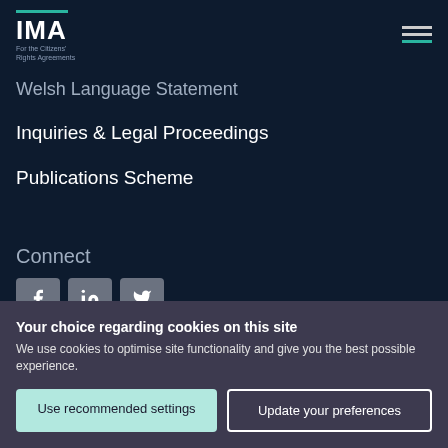[Figure (logo): IMA logo - For the Citizens' Rights Agreements, with teal bar above text and hamburger menu icon top right]
Welsh Language Statement
Inquiries & Legal Proceedings
Publications Scheme
Connect
[Figure (illustration): Three social media icon buttons (Facebook, LinkedIn, Twitter) in grey rounded squares]
Your choice regarding cookies on this site
We use cookies to optimise site functionality and give you the best possible experience.
Use recommended settings
Update your preferences